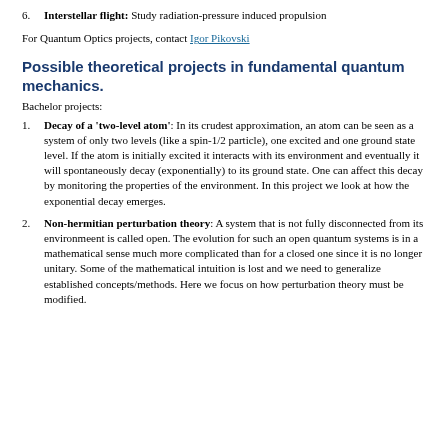6. Interstellar flight: Study radiation-pressure induced propulsion
For Quantum Optics projects, contact Igor Pikovski
Possible theoretical projects in fundamental quantum mechanics.
Bachelor projects:
1. Decay of a 'two-level atom': In its crudest approximation, an atom can be seen as a system of only two levels (like a spin-1/2 particle), one excited and one ground state level. If the atom is initially excited it interacts with its environment and eventually it will spontaneously decay (exponentially) to its ground state. One can affect this decay by monitoring the properties of the environment. In this project we look at how the exponential decay emerges.
2. Non-hermitian perturbation theory: A system that is not fully disconnected from its environmeent is called open. The evolution for such an open quantum systems is in a mathematical sense much more complicated than for a closed one since it is no longer unitary. Some of the mathematical intuition is lost and we need to generalize established concepts/methods. Here we focus on how perturbation theory must be modified.